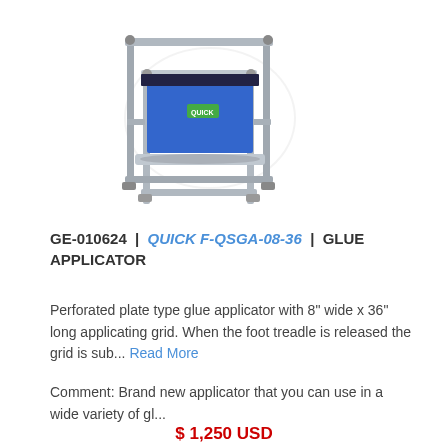[Figure (photo): Industrial glue applicator machine with metal frame, rollers, and blue body panels]
GE-010624 | QUICK F-QSGA-08-36 | GLUE APPLICATOR
Perforated plate type glue applicator with 8" wide x 36" long applicating grid. When the foot treadle is released the grid is sub... Read More
Comment: Brand new applicator that you can use in a wide variety of gl...
$ 1,250 USD